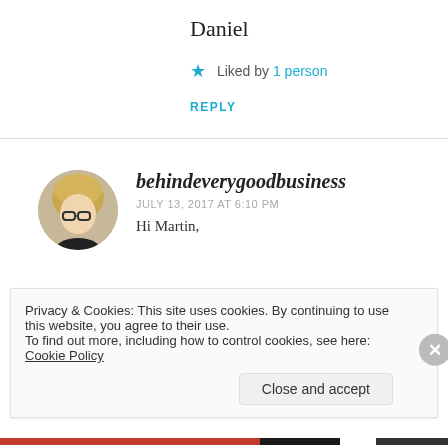Daniel
★ Liked by 1 person
REPLY
behindeverygoodbusiness
JULY 13, 2017 AT 6:10 PM
Hi Martin,
Privacy & Cookies: This site uses cookies. By continuing to use this website, you agree to their use.
To find out more, including how to control cookies, see here: Cookie Policy
Close and accept